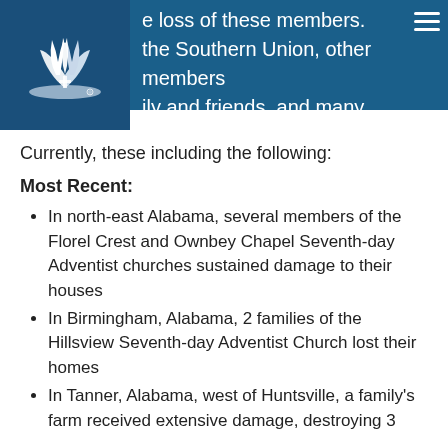e loss of these members. the Southern Union, other members ily and friends, and many members' been destroyed or damaged.
[Figure (logo): Seventh-day Adventist Church logo — white flame/torch and open book on dark blue background]
Currently, these including the following:
Most Recent:
In north-east Alabama, several members of the Florel Crest and Ownbey Chapel Seventh-day Adventist churches sustained damage to their houses
In Birmingham, Alabama, 2 families of the Hillsview Seventh-day Adventist Church lost their homes
In Tanner, Alabama, west of Huntsville, a family's farm received extensive damage, destroying 3